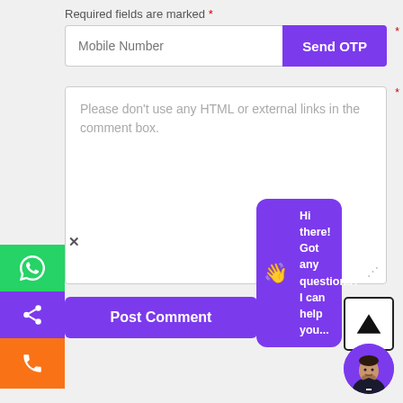Required fields are marked *
[Figure (screenshot): Mobile Number input field with Send OTP purple button]
[Figure (screenshot): Comment text area with placeholder text: Please don't use any HTML or external links in the comment box.]
[Figure (screenshot): Left side floating buttons: WhatsApp (green), Share (purple), Phone (orange) with close X]
Post Comment
[Figure (screenshot): Chat bubble: Hi there! Got any questions? I can help you... with wave emoji and upload arrow button]
[Figure (photo): Avatar of a man in suit on purple background circle]